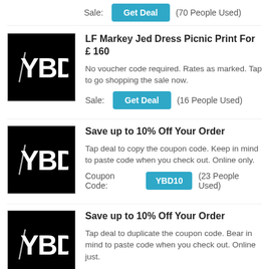Sale: Get Deal (70 People Used)
[Figure (logo): YBD logo - white letters on black background]
LF Markey Jed Dress Picnic Print For £ 160
No voucher code required. Rates as marked. Tap to go shopping the sale now.
Sale: Get Deal (16 People Used)
[Figure (logo): YBD logo - white letters on black background]
Save up to 10% Off Your Order
Tap deal to copy the coupon code. Keep in mind to paste code when you check out. Online only.
Coupon Code: YBD10 (23 People Used)
[Figure (logo): YBD logo - white letters on black background]
Save up to 10% Off Your Order
Tap deal to duplicate the coupon code. Bear in mind to paste code when you check out. Online just.